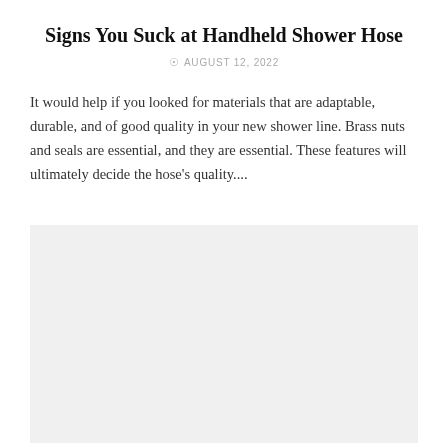Signs You Suck at Handheld Shower Hose
AUGUST 12, 2022
It would help if you looked for materials that are adaptable, durable, and of good quality in your new shower line. Brass nuts and seals are essential, and they are essential. These features will ultimately decide the hose's quality....
[Figure (photo): Large light gray placeholder image area below the article text]